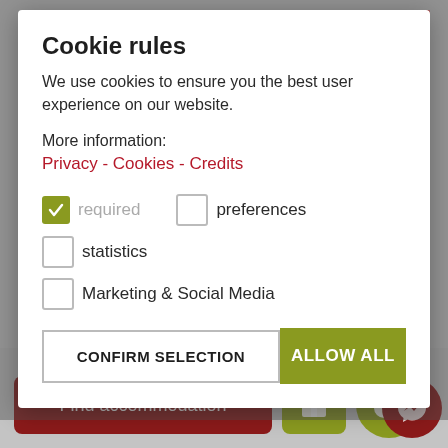Cookie rules
We use cookies to ensure you the best user experience on our website.
More information:
Privacy - Cookies - Credits
required (checked)
preferences (unchecked)
statistics (unchecked)
Marketing & Social Media (unchecked)
CONFIRM SELECTION
ALLOW ALL
Unte
Find the answers to the most frequently asked questions
easily recognised
Find accommodation